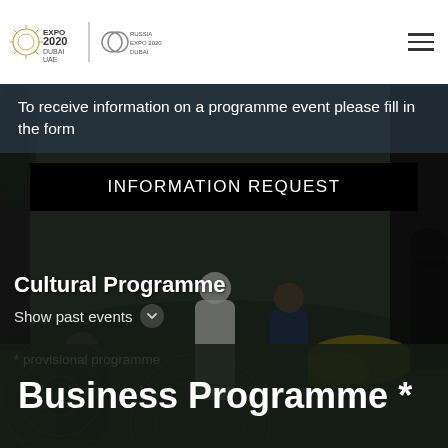Expo 2020 Dubai | Russia Expo 2020 Dubai
To receive information on a programme event please fill in the form
INFORMATION REQUEST
Cultural Programme
Show past events
* provisional programme
Business Programme *